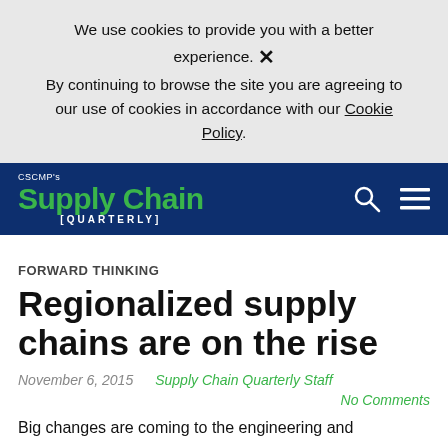We use cookies to provide you with a better experience. ✕ By continuing to browse the site you are agreeing to our use of cookies in accordance with our Cookie Policy.
CSCMP's Supply Chain [QUARTERLY]
FORWARD THINKING
Regionalized supply chains are on the rise
November 6, 2015    Supply Chain Quarterly Staff
No Comments
Big changes are coming to the engineering and